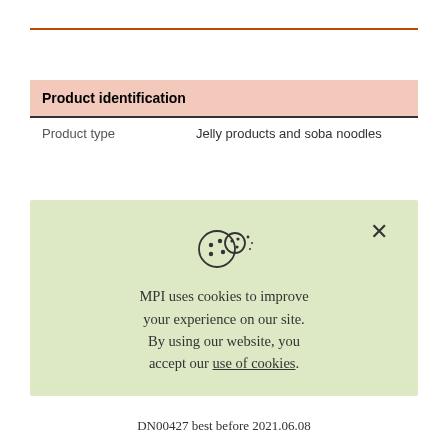| Product identification |
| --- |
| Product type | Jelly products and soba noodles |
[Figure (other): Cookie consent banner with cookie icon and close X button, light green background. Text: MPI uses cookies to improve your experience on our site. By using our website, you accept our use of cookies.]
DN00427 best before 2021.06.08